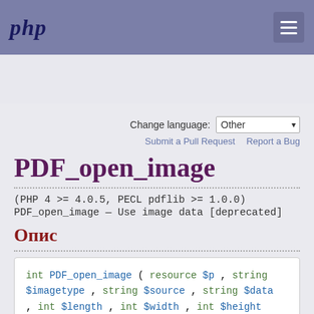php [menu icon]
Search
Change language: Other
Submit a Pull Request   Report a Bug
PDF_open_image
(PHP 4 >= 4.0.5, PECL pdflib >= 1.0.0)
PDF_open_image — Use image data [deprecated]
Опис
int PDF_open_image ( resource $p , string $imagetype , string $source , string $data , int $length , int $width , int $height